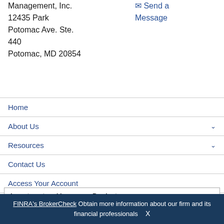Management, Inc.
12435 Park Potomac Ave. Ste. 440
Potomac, MD 20854
✉ Send a Message
Home
About Us
Resources
Contact Us
Access Your Account
Investment and Insurance Products are:
Not Insured by the FDIC or Any Federal Government Agency
Not a Deposit or Other Obligation of,
FINRA's BrokerCheck Obtain more information about our firm and its financial professionals  X